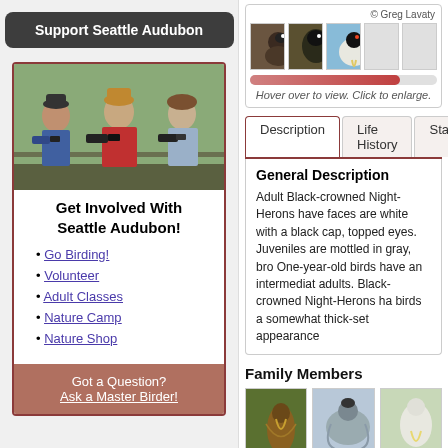Support Seattle Audubon
[Figure (photo): Three people looking through binoculars outdoors]
Get Involved With Seattle Audubon!
Go Birding!
Volunteer
Adult Classes
Nature Camp
Nature Shop
Got a Question?
Ask a Master Birder!
© Greg Lavaty
[Figure (photo): Thumbnail photos of Black-crowned Night-Herons; progress bar below with caption: Hover over to view. Click to enlarge.]
Hover over to view. Click to enlarge.
Description | Life History | Status
General Description
Adult Black-crowned Night-Herons have faces are white with a black cap, topped eyes. Juveniles are mottled in gray, bro One-year-old birds have an intermediat adults. Black-crowned Night-Herons ha birds a somewhat thick-set appearance
Family Members
[Figure (photo): Three thumbnail photos of family member birds]